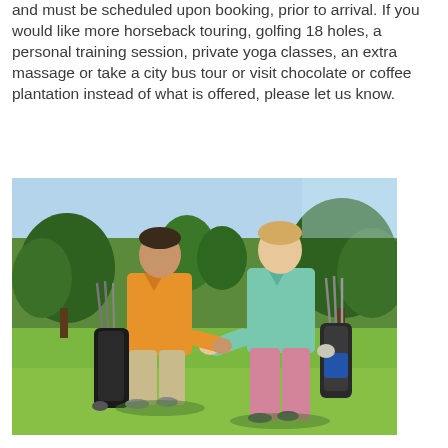and must be scheduled upon booking, prior to arrival. If you would like more horseback touring, golfing 18 holes, a personal training session, private yoga classes, an extra massage or take a city bus tour or visit chocolate or coffee plantation instead of what is offered, please let us know.
[Figure (photo): Two men in golf attire carrying golf bags and walking on a golf course. The man on the left wears an orange polo shirt and khaki shorts; the man on the right wears a light blue polo shirt and pink pants. Both carry golf bags. Trees are visible in the background.]